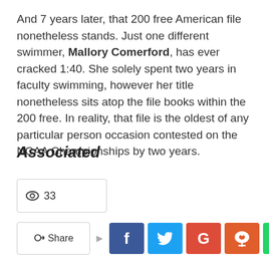And 7 years later, that 200 free American file nonetheless stands. Just one different swimmer, Mallory Comerford, has ever cracked 1:40. She solely spent two years in faculty swimming, however her title nonetheless sits atop the file books within the 200 free. In reality, that file is the oldest of any particular person occasion contested on the NCAA Championships by two years.
Associated
[Figure (infographic): Views count box showing eye icon and number 33]
[Figure (infographic): Share button row with Share label and social media icons: Facebook (blue), Twitter (cyan), Google (red), Reddit (orange-red), WhatsApp (green), plus more button and reCAPTCHA logo, and a red scroll-to-top button]